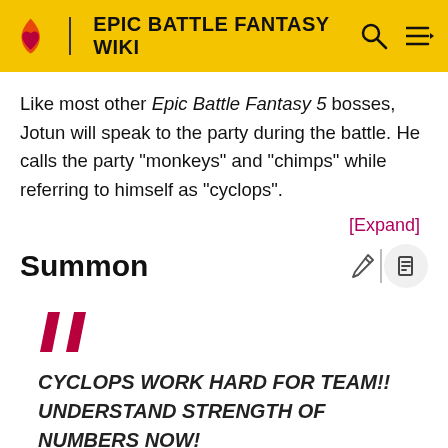EPIC BATTLE FANTASY WIKI
Like most other Epic Battle Fantasy 5 bosses, Jotun will speak to the party during the battle. He calls the party "monkeys" and "chimps" while referring to himself as "cyclops".
[Expand]
Summon
CYCLOPS WORK HARD FOR TEAM!! UNDERSTAND STRENGTH OF NUMBERS NOW!
JOTUN WHEN SUMMONED